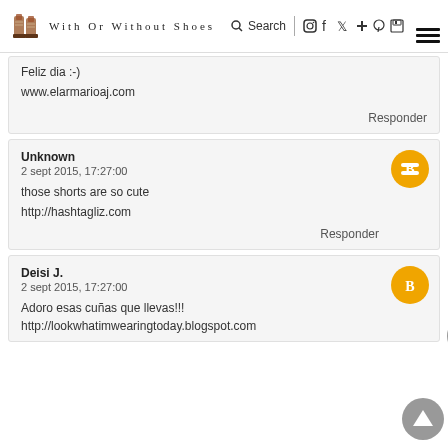With Or Without Shoes — Search, social icons, hamburger menu
Feliz dia :-)
www.elarmarioaj.com
Responder
Unknown
2 sept 2015, 17:27:00
those shorts are so cute
http://hashtagliz.com
Responder
Deisi J.
2 sept 2015, 17:27:00
Adoro esas cuñas que llevas!!!
http://lookwhatimwearingtoday.blogspot.com